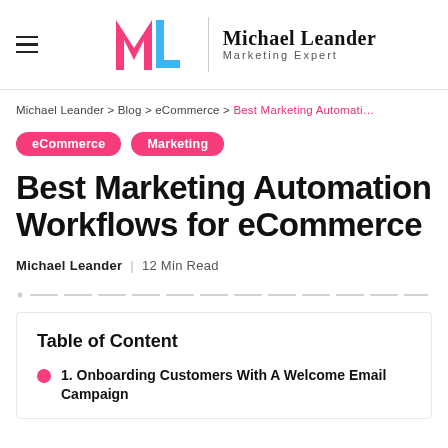Michael Leander Marketing Expert
Michael Leander > Blog > eCommerce > Best Marketing Automati…
eCommerce
Marketing
Best Marketing Automation Workflows for eCommerce
Michael Leander | 12 Min Read
Table of Content
1. Onboarding Customers With A Welcome Email Campaign